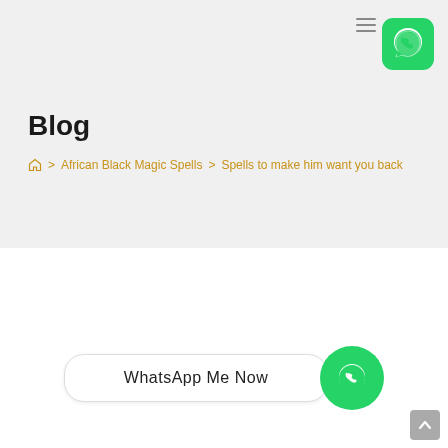[Figure (screenshot): WhatsApp app icon — green rounded square with white phone handset in speech bubble]
Blog
🏠 > African Black Magic Spells > Spells to make him want you back
[Figure (other): WhatsApp Me Now button with green circle WhatsApp icon]
[Figure (other): Scroll to top grey button with upward chevron arrow]